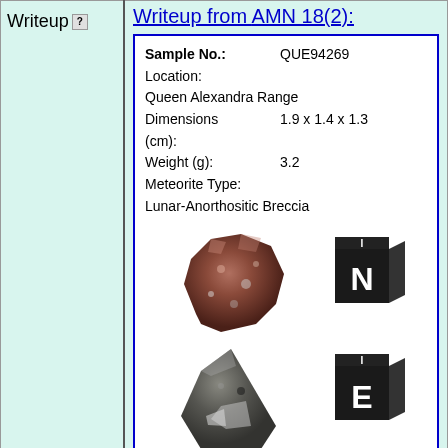Writeup
Writeup from AMN 18(2):
| Sample No.: | QUE94269 |
| Location: | Queen Alexandra Range |
| Dimensions (cm): | 1.9 x 1.4 x 1.3 |
| Weight (g): | 3.2 |
| Meteorite Type: | Lunar-Anorthositic Breccia |
[Figure (photo): Two photos of meteorite sample QUE94269 from different angles, each shown next to a scale cube. Top row: reddish-brown rocky fragment next to a black cube showing 'I' on top and 'N' on face. Bottom row: triangular grey-dark rock fragment next to a black cube showing 'I' on top and 'E' on face.]
Macroscopic Description: Roberta Score
This lunar meteorite is identical to QUE93069 a...